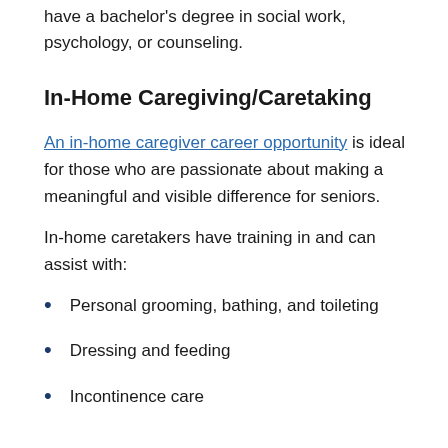have a bachelor's degree in social work, psychology, or counseling.
In-Home Caregiving/Caretaking
An in-home caregiver career opportunity is ideal for those who are passionate about making a meaningful and visible difference for seniors.
In-home caretakers have training in and can assist with:
Personal grooming, bathing, and toileting
Dressing and feeding
Incontinence care